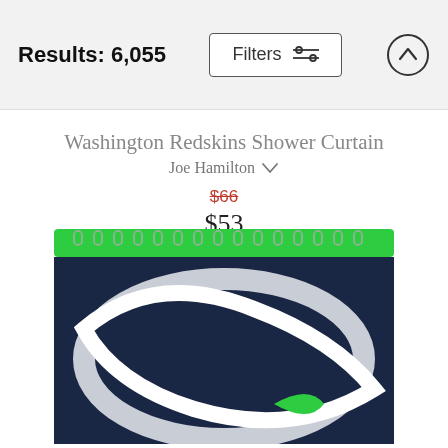Results: 6,055
Washington Redskins Shower Curtain
Joe Hamilton
$66 $53
[Figure (photo): Shower curtain with Seattle Seahawks navy blue and green logo design, shown hanging from curtain rings with green top border.]